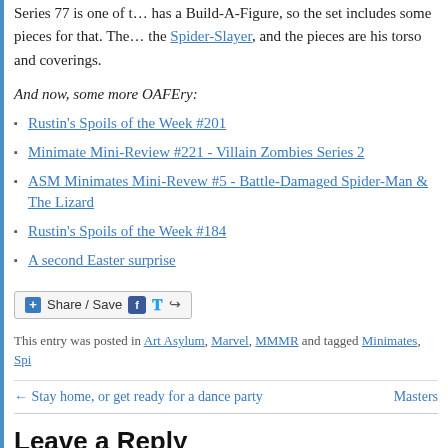Series 77 is one of t… has a Build-A-Figure, so the set includes some pieces for that. The… the Spider-Slayer, and the pieces are his torso and coverings.
And now, some more OAFEry:
Rustin's Spoils of the Week #201
Minimate Mini-Review #221 - Villain Zombies Series 2
ASM Minimates Mini-Revew #5 - Battle-Damaged Spider-Man & The Lizard
Rustin's Spoils of the Week #184
A second Easter surprise
[Figure (other): Share / Save button with Facebook, Twitter, and share icons]
This entry was posted in Art Asylum, Marvel, MMMR and tagged Minimates, Spi…
← Stay home, or get ready for a dance party    Masters
Leave a Reply